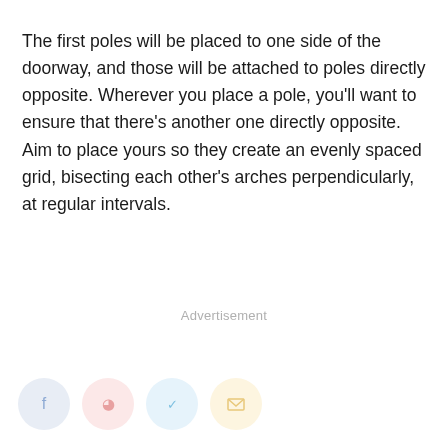The first poles will be placed to one side of the doorway, and those will be attached to poles directly opposite. Wherever you place a pole, you'll want to ensure that there's another one directly opposite. Aim to place yours so they create an evenly spaced grid, bisecting each other's arches perpendicularly, at regular intervals.
Advertisement